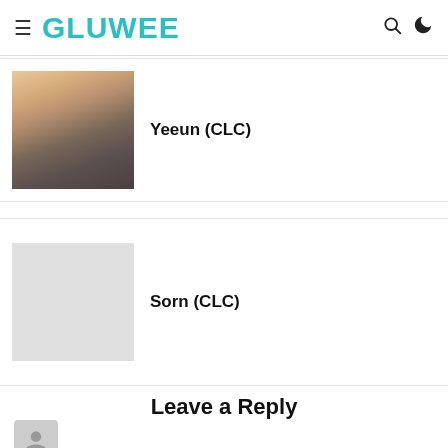GLUWEE
Yeeun (CLC)
[Figure (photo): Photo of Yeeun (CLC), a young woman with long blonde hair]
[Figure (photo): Placeholder image for Sorn (CLC), light gray rectangle]
Sorn (CLC)
Leave a Reply